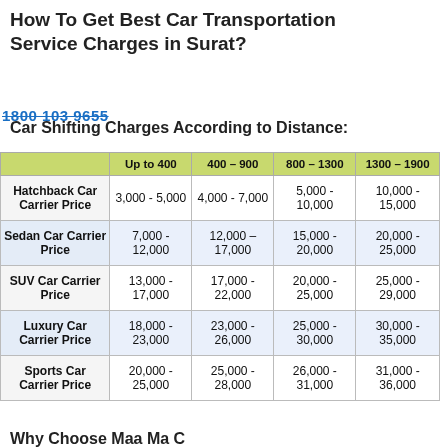How To Get Best Car Transportation Service Charges in Surat?
Car Shifting Charges According to Distance:
|  | Up to 400 | 400 – 900 | 800 – 1300 | 1300 – 1900 |
| --- | --- | --- | --- | --- |
| Hatchback Car Carrier Price | 3,000 - 5,000 | 4,000 - 7,000 | 5,000 - 10,000 | 10,000 - 15,000 |
| Sedan Car Carrier Price | 7,000 - 12,000 | 12,000 – 17,000 | 15,000 - 20,000 | 20,000 - 25,000 |
| SUV Car Carrier Price | 13,000 - 17,000 | 17,000 - 22,000 | 20,000 - 25,000 | 25,000 - 29,000 |
| Luxury Car Carrier Price | 18,000 - 23,000 | 23,000 - 26,000 | 25,000 - 30,000 | 30,000 - 35,000 |
| Sports Car Carrier Price | 20,000 - 25,000 | 25,000 - 28,000 | 26,000 - 31,000 | 31,000 - 36,000 |
Why Choose Maa Ma Cargo for Hi...